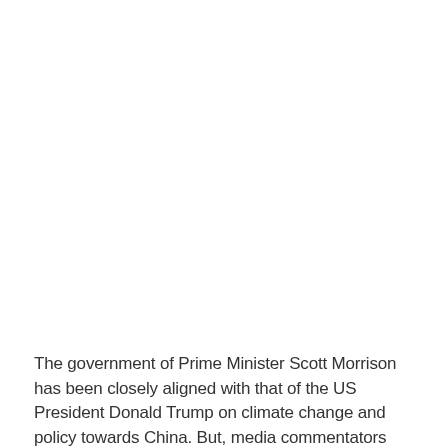The government of Prime Minister Scott Morrison has been closely aligned with that of the US President Donald Trump on climate change and policy towards China. But, media commentators have in the past few days been observing that